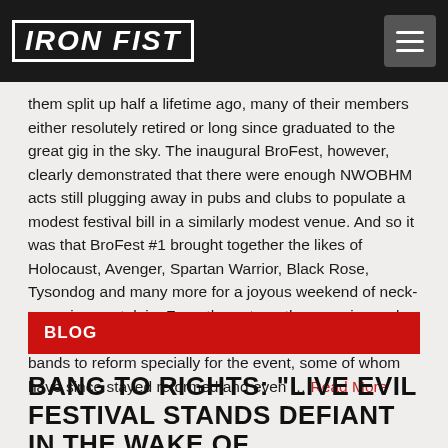IRON FIST
them split up half a lifetime ago, many of their members either resolutely retired or long since graduated to the great gig in the sky. The inaugural BroFest, however, clearly demonstrated that there were enough NWOBHM acts still plugging away in pubs and clubs to populate a modest festival bill in a similarly modest venue. And so it was that BroFest #1 brought together the likes of Holocaust, Avenger, Spartan Warrior, Black Rose, Tysondog and many more for a joyous weekend of neck-snapping nostalgia. From the get-go, the organizers also showed an uncanny knack for persuading long-defunct bands to reform specially for the event, some of whom have since stayed reformed and even … Read More
BLOG
BANG TO RIGHTS: "LIVE EVIL FESTIVAL STANDS DEFIANT IN THE WAKE OF MEDIOCRITY BY SHOWCASING RAW TALENT DIREC"